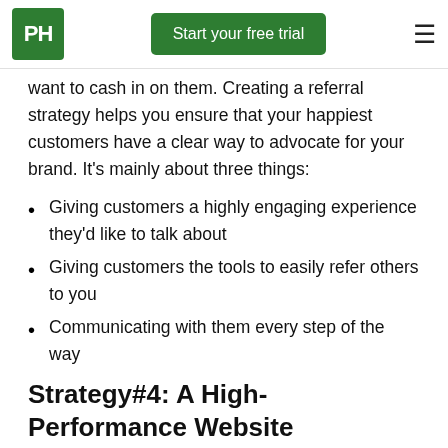PH | Start your free trial
want to cash in on them. Creating a referral strategy helps you ensure that your happiest customers have a clear way to advocate for your brand. It's mainly about three things:
Giving customers a highly engaging experience they'd like to talk about
Giving customers the tools to easily refer others to you
Communicating with them every step of the way
Strategy#4: A High-Performance Website
This is the age of the Internet. You need to have an engaging, high-performing website to spread your brand name to the farthest corners. Globally the number of internet users increased from only 413 million in 2000 to over